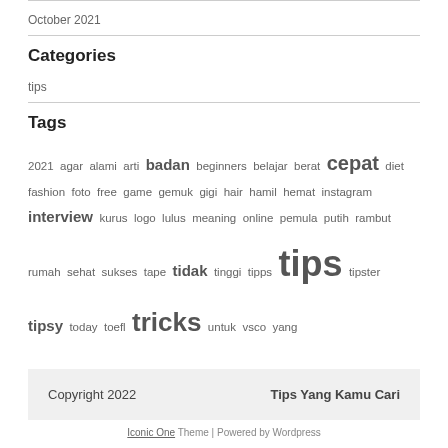October 2021
Categories
tips
Tags
2021 agar alami arti badan beginners belajar berat cepat diet fashion foto free game gemuk gigi hair hamil hemat instagram interview kurus logo lulus meaning online pemula putih rambut rumah sehat sukses tape tidak tinggi tipps tips tipster tipsy today toefl tricks untuk vsco yang
Copyright 2022 | Tips Yang Kamu Cari
Iconic One Theme | Powered by Wordpress